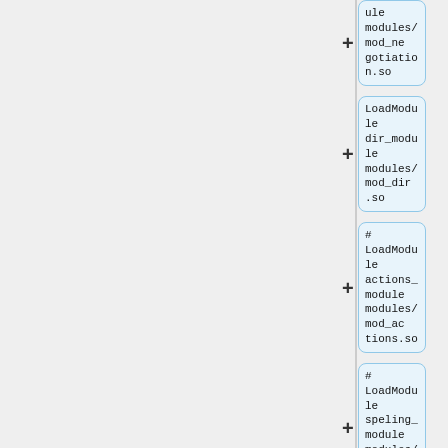[Figure (flowchart): A vertical flowchart showing Apache LoadModule configuration nodes. Each node is a rounded rectangle with a plus (+) connector on the left, containing module configuration text. Nodes shown: 'ule modules/mod_negotiation.so', 'LoadModule dir_module modules/mod_dir.so', '# LoadModule actions_module modules/mod_actions.so', '# LoadModule speling_module modules/mod_speling.so', '# LoadModule userdir_module modules/mod_userdir.so', and a partial node at the bottom.]